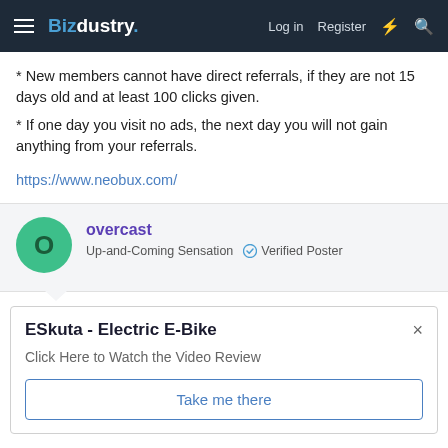Bizdustry. Log in  Register
* New members cannot have direct referrals, if they are not 15 days old and at least 100 clicks given.
* If one day you visit no ads, the next day you will not gain anything from your referrals.
https://www.neobux.com/
overcast
Up-and-Coming Sensation  ✅ Verified Poster
ESkuta - Electric E-Bike
Click Here to Watch the Video Review
Take me there